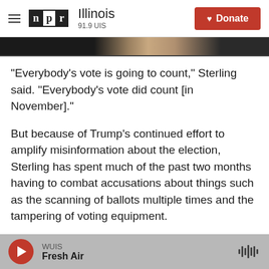NPR Illinois 91.9 UIS | Donate
[Figure (photo): Partial image strip at top of article]
"Everybody's vote is going to count," Sterling said. "Everybody's vote did count [in November]."
But because of Trump's continued effort to amplify misinformation about the election, Sterling has spent much of the past two months having to combat accusations about things such as the scanning of ballots multiple times and the tampering of voting equipment.
More than a month ago, Sterling warned that "someone's going to get shot" due to the Trump-
WUIS | Fresh Air